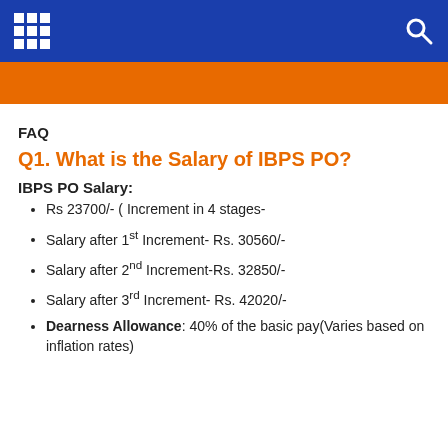navigation bar with grid icon and search icon
[Figure (other): Orange banner header area]
FAQ
Q1. What is the Salary of IBPS PO?
IBPS PO Salary:
Rs 23700/- ( Increment in 4 stages-
Salary after 1st Increment- Rs. 30560/-
Salary after 2nd Increment-Rs. 32850/-
Salary after 3rd Increment- Rs. 42020/-
Dearness Allowance: 40% of the basic pay(Varies based on inflation rates)